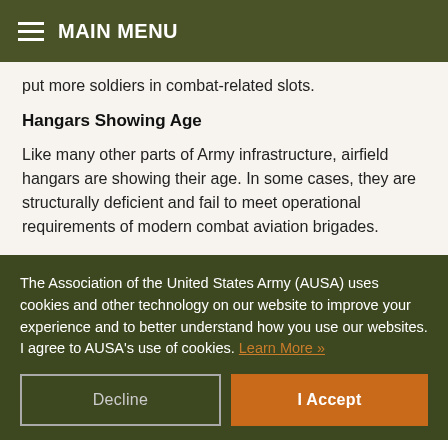MAIN MENU
put more soldiers in combat-related slots.
Hangars Showing Age
Like many other parts of Army infrastructure, airfield hangars are showing their age. In some cases, they are structurally deficient and fail to meet operational requirements of modern combat aviation brigades.
The Association of the United States Army (AUSA) uses cookies and other technology on our website to improve your experience and to better understand how you use our websites. I agree to AUSA's use of cookies. Learn More »